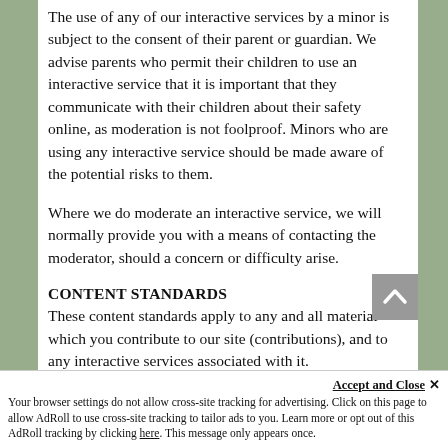The use of any of our interactive services by a minor is subject to the consent of their parent or guardian. We advise parents who permit their children to use an interactive service that it is important that they communicate with their children about their safety online, as moderation is not foolproof. Minors who are using any interactive service should be made aware of the potential risks to them.
Where we do moderate an interactive service, we will normally provide you with a means of contacting the moderator, should a concern or difficulty arise.
CONTENT STANDARDS
These content standards apply to any and all material which you contribute to our site (contributions), and to any interactive services associated with it.
You must comply with the spirit of the following standards as well as the letter. The standards apply to each part of any contribution as well as to its whole.
Accept and Close ✕
Your browser settings do not allow cross-site tracking for advertising. Click on this page to allow AdRoll to use cross-site tracking to tailor ads to you. Learn more or opt out of this AdRoll tracking by clicking here. This message only appears once.